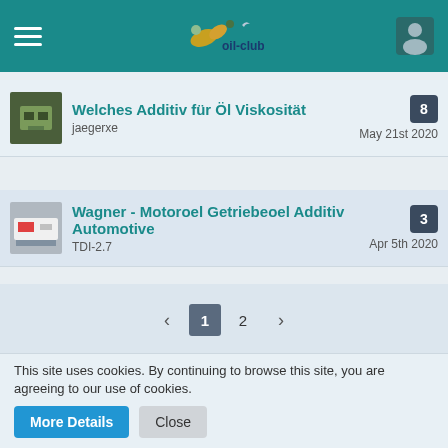oil-club
Welches Additiv für Öl Viskosität - jaegerxe - May 21st 2020 - 8 replies
Wagner - Motoroel Getriebeoel Additiv Automotive - TDI-2.7 - Apr 5th 2020 - 3 replies
< 1 2 >
Statistics
67 Threads · 5,012 Posts (2.28 Posts per Day)
This site uses cookies. By continuing to browse this site, you are agreeing to our use of cookies.